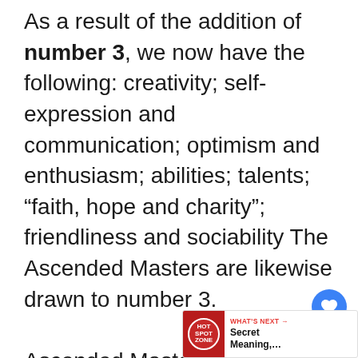As a result of the addition of number 3, we now have the following: creativity; self-expression and communication; optimism and enthusiasm; abilities; talents; “faith, hope and charity”; friendliness and sociability The Ascended Masters are likewise drawn to number 3.

Ascended Master: An “ascended master” is a great teacher, healer, or prophet who lived a human life and is now in the world of spirit. An Ascended